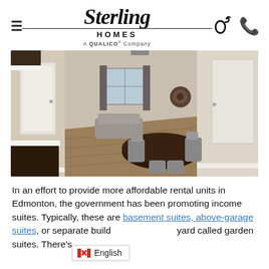[Figure (logo): Sterling Homes - A QUALICO Company logo with hamburger menu icon on left and phone icon on right]
[Figure (photo): Interior photo of a finished basement suite with dining table and chairs, open living area, hardwood floors, and white doors]
In an effort to provide more affordable rental units in Edmonton, the government has been promoting income suites. Typically, these are basement suites, above-garage suites, or separate buildings in your backyard called garden suites. There's